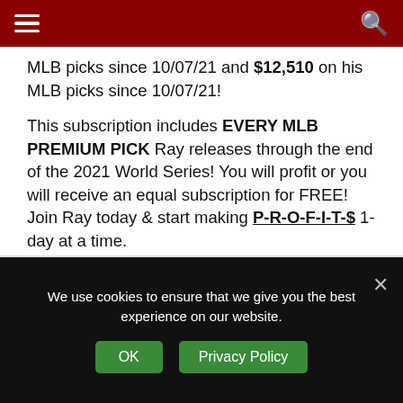Navigation header bar with hamburger menu and search icon
MLB picks since 10/07/21 and $12,510 on his MLB picks since 10/07/21!
This subscription includes EVERY MLB PREMIUM PICK Ray releases through the end of the 2021 World Series! You will profit or you will receive an equal subscription for FREE! Join Ray today & start making P-R-O-F-I-T-$ 1-day at a time.
[Figure (other): Green Buy Now button on light gray background]
We use cookies to ensure that we give you the best experience on our website.
OK   Privacy Policy